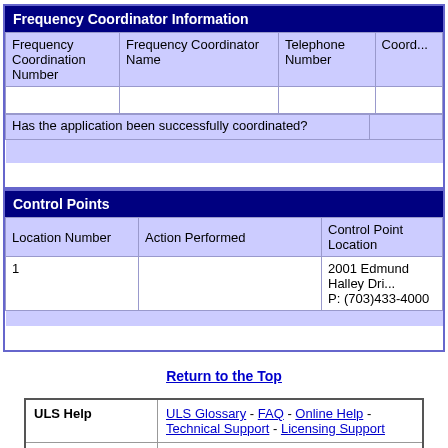| Frequency Coordination Number | Frequency Coordinator Name | Telephone Number | Coord... |
| --- | --- | --- | --- |
|  |  |  |  |
| Has the application been successfully coordinated? |  |  |  |
| Location Number | Action Performed | Control Point Location |
| --- | --- | --- |
| 1 |  | 2001 Edmund Halley Dri...
P: (703)433-4000 |
Return to the Top
|  |  |
| --- | --- |
| ULS Help | ULS Glossary - FAQ - Online Help - Technical Support - Licensing Support |
| ULS Online Systems | CORES - ULS Online Filing - License Search - Application Search - Archive License Search |
| About ULS | Privacy Statement - About ULS - ULS Home |
| Basic Search | By File Number [dropdown] [input] SEARCH |